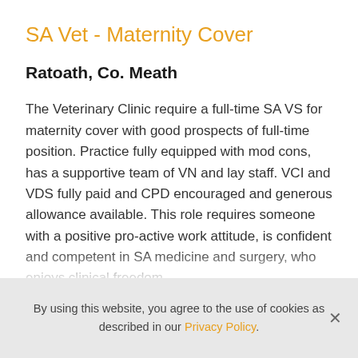SA Vet - Maternity Cover
Ratoath, Co. Meath
The Veterinary Clinic require a full-time SA VS for maternity cover with good prospects of full-time position. Practice fully equipped with mod cons, has a supportive team of VN and lay staff. VCI and VDS fully paid and CPD encouraged and generous allowance available. This role requires someone with a positive pro-active work attitude, is confident and competent in SA medicine and surgery, who enjoys clinical freedom
By using this website, you agree to the use of cookies as described in our Privacy Policy.